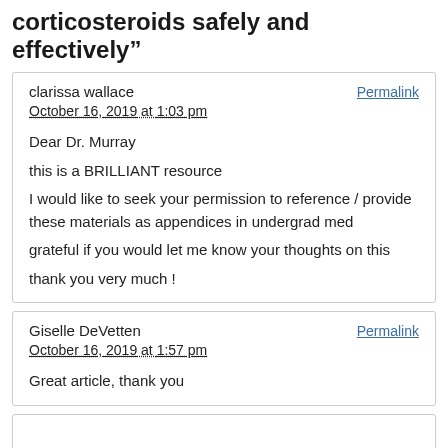corticosteroids safely and effectively”
clarissa wallace
October 16, 2019 at 1:03 pm
Dear Dr. Murray
this is a BRILLIANT resource
I would like to seek your permission to reference / provide these materials as appendices in undergrad med
grateful if you would let me know your thoughts on this
thank you very much !
Giselle DeVetten
October 16, 2019 at 1:57 pm
Great article, thank you